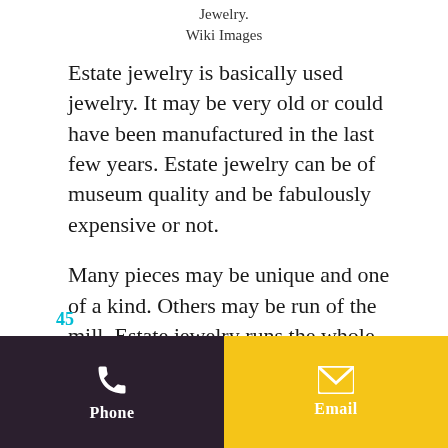Jewelry.
Wiki Images
Estate jewelry is basically used jewelry. It may be very old or could have been manufactured in the last few years. Estate jewelry can be of museum quality and be fabulously expensive or not.
Many pieces may be unique and one of a kind. Others may be run of the mill. Estate jewelry runs the whole gamut.
It often takes a trained eye to know if a piece is valuable or not. One Estate Dealer can carry completely different jewelry than another. One high end, one
45   Phone   Email